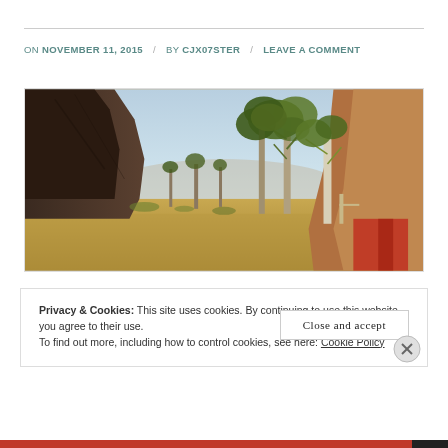ON NOVEMBER 11, 2015 / BY CJX07STER / LEAVE A COMMENT
[Figure (photo): Landscape photograph of an Australian outback gorge/canyon with red rock walls on either side, eucalyptus gum trees in the middle, dry golden grassland, and a light blue sky.]
Privacy & Cookies: This site uses cookies. By continuing to use this website, you agree to their use.
To find out more, including how to control cookies, see here: Cookie Policy
Close and accept